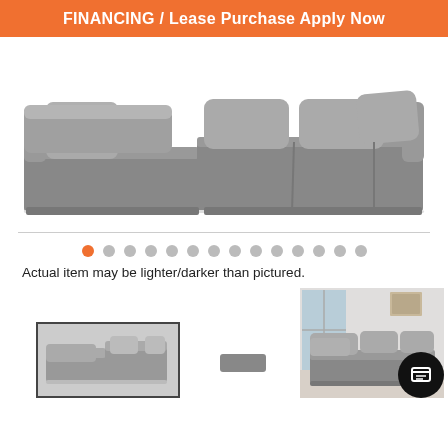FINANCING / Lease Purchase Apply Now
[Figure (photo): Gray modular sectional sofa with chaise lounge, viewed from front-left angle on white background]
[Figure (other): Image carousel navigation dots, first dot orange/active, rest gray]
Actual item may be lighter/darker than pictured.
[Figure (photo): Thumbnail 1: Gray sectional sofa with chaise, selected with dark border]
[Figure (photo): Thumbnail 2: Small gray rectangle shape]
[Figure (photo): Thumbnail 3: Gray sectional sofa in a room setting with windows and wall art]